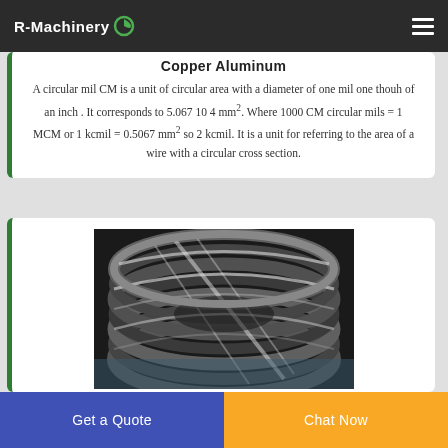R-Machinery
Copper Aluminum
A circular mil CM is a unit of circular area with a diameter of one mil one thouh of an inch . It corresponds to 5.067 10 4 mm². Where 1000 CM circular mils = 1 MCM or 1 kcmil = 0.5067 mm² so 2 kcmil. It is a unit for referring to the area of a wire with a circular cross section.
[Figure (photo): Close-up photograph of metallic wire coils with circular cross sections, shown in black and white/grayscale]
Get a Quote
Chat Now